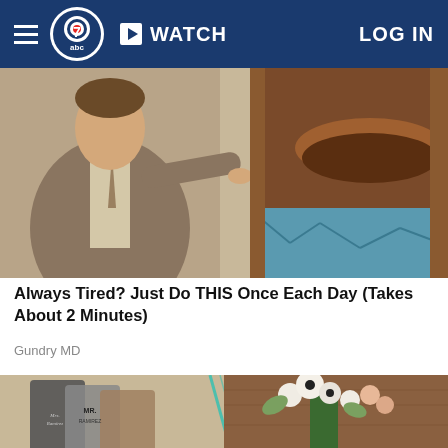WATCH   LOG IN
[Figure (photo): A man in a suit pointing at a chocolate/clay-like substance in a large barrel or bowl, promotional health ad image]
Always Tired? Just Do THIS Once Each Day (Takes About 2 Minutes)
Gundry MD
[Figure (photo): Left side: personalized leather luggage tags reading 'Mrs. Ramirez' and 'Mr. Ramirez'; Right side: white roses and anemone flowers in a green wine bottle vase on a wooden surface]